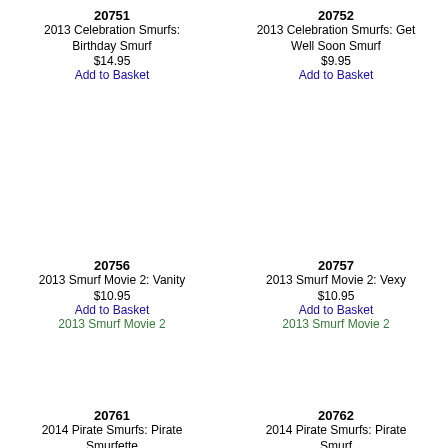20751
2013 Celebration Smurfs: Birthday Smurf
$14.95
Add to Basket
20752
2013 Celebration Smurfs: Get Well Soon Smurf
$9.95
Add to Basket
20756
2013 Smurf Movie 2: Vanity
$10.95
Add to Basket
2013 Smurf Movie 2
20757
2013 Smurf Movie 2: Vexy
$10.95
Add to Basket
2013 Smurf Movie 2
20761
2014 Pirate Smurfs: Pirate Smurfette
$19.95
20762
2014 Pirate Smurfs: Pirate Smurf
$15.95